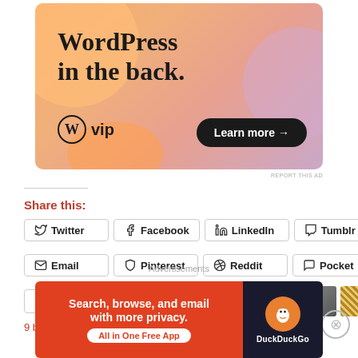[Figure (illustration): WordPress VIP advertisement with colorful blob shapes background. Text reads 'WordPress in the back.' with WordPress W logo and 'vip' branding, plus a 'Learn more →' button.]
REPORT THIS AD
Share this:
Twitter Facebook LinkedIn Tumblr Email Pinterest Reddit Pocket More
[Figure (other): Like button with star icon, followed by a row of 9 blogger avatar profile pictures]
9 bloggers like this.
Advertisements
[Figure (illustration): DuckDuckGo advertisement: 'Search, browse, and email with more privacy. All in One Free App' on red background with DuckDuckGo logo on dark background.]